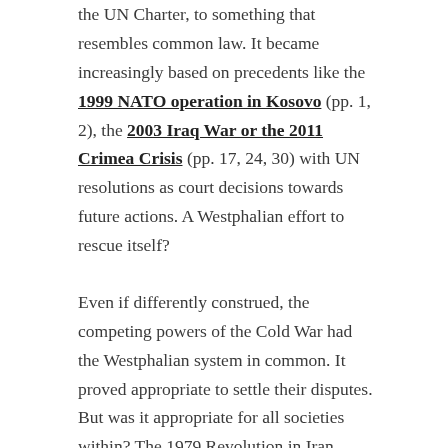the UN Charter, to something that resembles common law. It became increasingly based on precedents like the 1999 NATO operation in Kosovo (pp. 1, 2), the 2003 Iraq War or the 2011 Crimea Crisis (pp. 17, 24, 30) with UN resolutions as court decisions towards future actions. A Westphalian effort to rescue itself?
Even if differently construed, the competing powers of the Cold War had the Westphalian system in common. It proved appropriate to settle their disputes. But was it appropriate for all societies within? The 1979 Revolution in Iran including its' rejection of Westphalia gave the first explicit answer.
In Iraq, Ba'ath government's social contract was